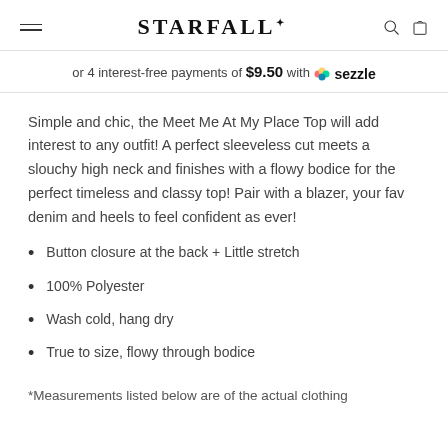STARFALL
or 4 interest-free payments of $9.50 with Sezzle
Simple and chic, the Meet Me At My Place Top will add interest to any outfit! A perfect sleeveless cut meets a slouchy high neck and finishes with a flowy bodice for the perfect timeless and classy top! Pair with a blazer, your fav denim and heels to feel confident as ever!
Button closure at the back + Little stretch
100% Polyester
Wash cold, hang dry
True to size, flowy through bodice
*Measurements listed below are of the actual clothing